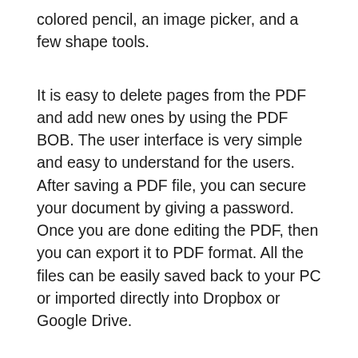colored pencil, an image picker, and a few shape tools.
It is easy to delete pages from the PDF and add new ones by using the PDF BOB. The user interface is very simple and easy to understand for the users. After saving a PDF file, you can secure your document by giving a password. Once you are done editing the PDF, then you can export it to PDF format. All the files can be easily saved back to your PC or imported directly into Dropbox or Google Drive.
Try PDF BOB Editor